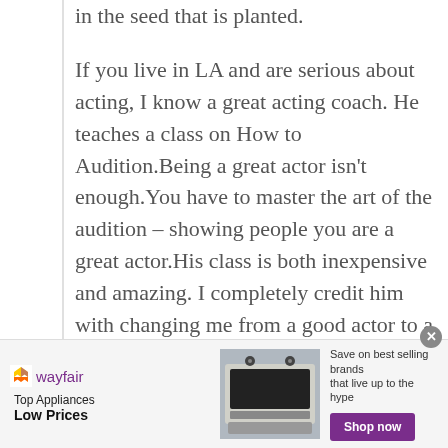in the seed that is planted.

If you live in LA and are serious about acting, I know a great acting coach.  He teaches a class on How to Audition.Being a great actor isn't enough.You have to master the art of the audition – showing people you are a great actor.His class is both inexpensive and amazing.  I completely credit him with changing me from a good actor to a working actor.  His name is Robert D'Avanzo 818-508-0723.  Ask about his 6-Week On Camera
[Figure (infographic): Wayfair advertisement banner: Top Appliances Low Prices, with a stove image, and Save on best selling brands that live up to the hype, Shop now button]